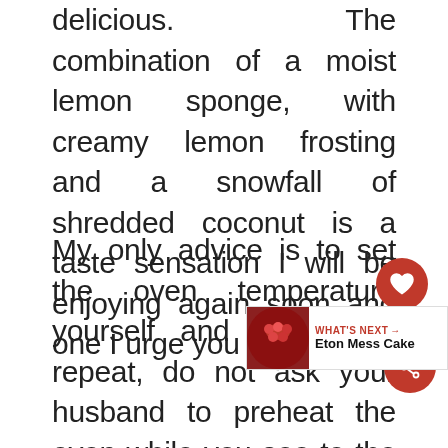delicious. The combination of a moist lemon sponge, with creamy lemon frosting and a snowfall of shredded coconut is a taste sensation I will be enjoying again soon and one I urge you to try.
My only advice is to set the oven temperature yourself and do not, I repeat, do not ask your husband to preheat the oven while you see to the baby, because although there are lemons and coconut staring front of him, beside the cookbook, he still manages to read the oven